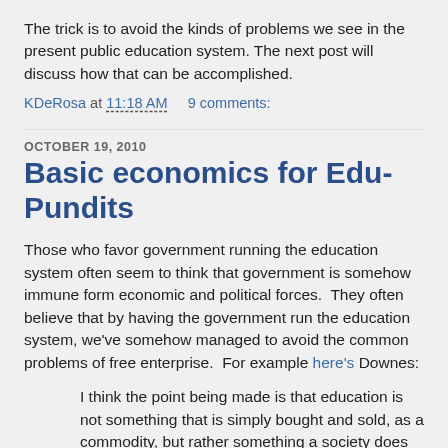The trick is to avoid the kinds of problems we see in the present public education system. The next post will discuss how that can be accomplished.
KDeRosa at 11:18 AM    9 comments:
OCTOBER 19, 2010
Basic economics for Edu-Pundits
Those who favor government running the education system often seem to think that government is somehow immune form economic and political forces.  They often believe that by having the government run the education system, we've somehow managed to avoid the common problems of free enterprise.  For example here's Downes:
I think the point being made is that education is not something that is simply bought and sold, as a commodity, but rather something a society does to advance its own objectives. That it is,